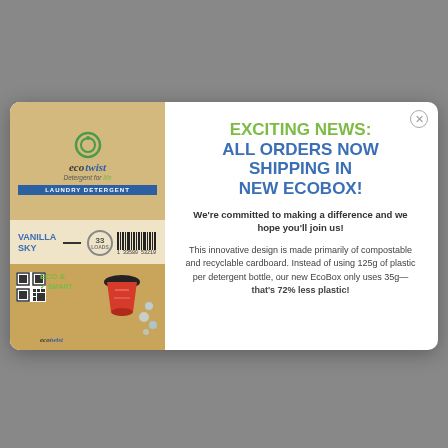[Figure (photo): EcoTwist laundry detergent product packaging — top section shows brown/tan box with EcoTwist logo, 'Detergent for life' tagline, and 'LAUNDRY DETERGENT' label; middle shows 'VANILLA SKY' text with 33 loads badge and barcode; bottom shows eco-friendly cardboard box with QR code, red cup dispenser, and ECO & green badge.]
EXCITING NEWS: ALL ORDERS NOW SHIPPING IN NEW ECOBOX!
We're committed to making a difference and we hope you'll join us!
This innovative design is made primarily of compostable and recyclable cardboard. Instead of using 125g of plastic per detergent bottle, our new EcoBox only uses 35g—that's 72% less plastic!